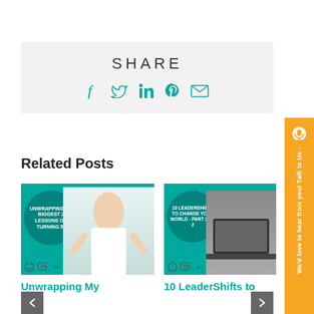SHARE
[Figure (infographic): Social share icons: Facebook, Twitter, LinkedIn, Pinterest, Email in teal color]
Related Posts
[Figure (photo): Post thumbnail: Unwrapping my biggest 2 lessons on turning 50 - woman with arms raised]
Unwrapping My
[Figure (photo): Post thumbnail: 10 LeaderShifts to Change your World Part 2 of 2 - devices and person]
10 LeaderShifts to